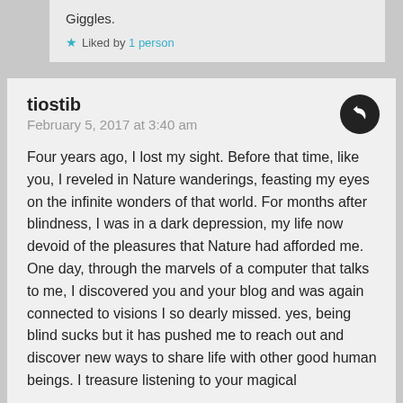Giggles.
★ Liked by 1 person
tiostib
February 5, 2017 at 3:40 am
Four years ago, I lost my sight. Before that time, like you, I reveled in Nature wanderings, feasting my eyes on the infinite wonders of that world. For months after blindness, I was in a dark depression, my life now devoid of the pleasures that Nature had afforded me. One day, through the marvels of a computer that talks to me, I discovered you and your blog and was again connected to visions I so dearly missed. yes, being blind sucks but it has pushed me to reach out and discover new ways to share life with other good human beings. I treasure listening to your magical